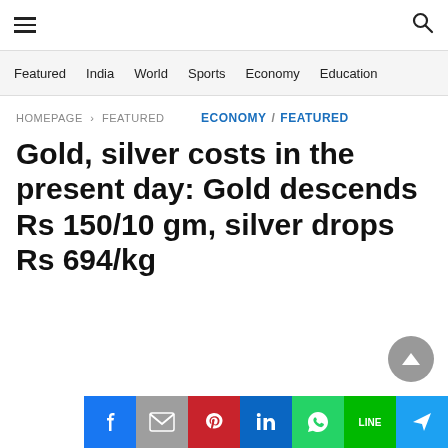≡  🔍
Featured  India  World  Sports  Economy  Education
HOMEPAGE > FEATURED
ECONOMY / FEATURED
Gold, silver costs in the present day: Gold descends Rs 150/10 gm, silver drops Rs 694/kg
[Figure (other): Social media share buttons: Facebook, Gmail, Pinterest, LinkedIn, WhatsApp, LINE, Send]